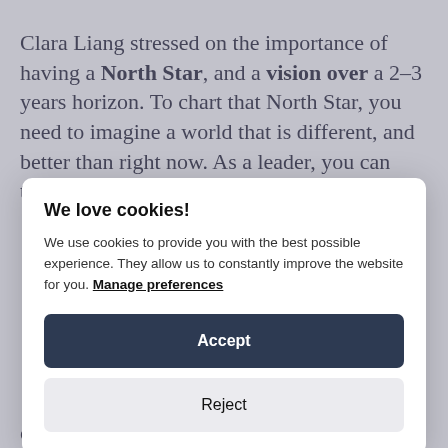Clara Liang stressed on the importance of having a North Star, and a vision over a 2–3 years horizon. To chart that North Star, you need to imagine a world that is different, and better than right now. As a leader, you can then
We love cookies!
We use cookies to provide you with the best possible experience. They allow us to constantly improve the website for you. Manage preferences
Accept
Reject
once you arrive at your destination